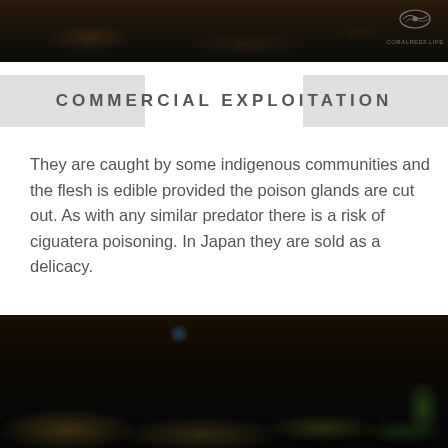[Figure (photo): Underwater photograph showing dark rocky seafloor or reef with algae/moss-like coverage, very dark background]
COMMERCIAL EXPLOITATION
They are caught by some indigenous communities and the flesh is edible provided the poison glands are cut out. As with any similar predator there is a risk of ciguatera poisoning. In Japan they are sold as a delicacy.
[Figure (photo): Underwater close-up photograph of a rocky reef covered in dark moss, algae and marine growth. A faint blue fish is visible in the background, green algae visible on the right side.]